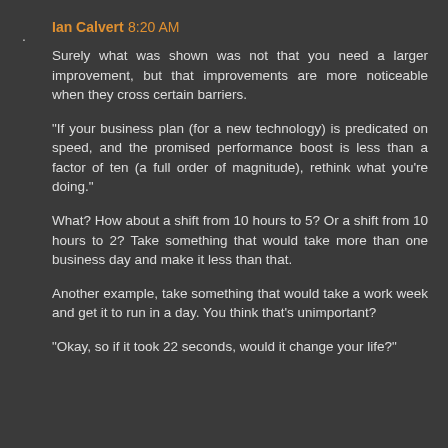Ian Calvert 8:20 AM
Surely what was shown was not that you need a larger improvement, but that improvements are more noticeable when they cross certain barriers.
"If your business plan (for a new technology) is predicated on speed, and the promised performance boost is less than a factor of ten (a full order of magnitude), rethink what you're doing."
What? How about a shift from 10 hours to 5? Or a shift from 10 hours to 2? Take something that would take more than one business day and make it less than that.
Another example, take something that would take a work week and get it to run in a day. You think that's unimportant?
"Okay, so if it took 22 seconds, would it change your life?"